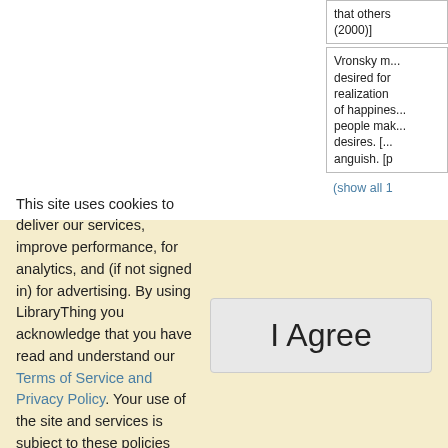that others (2000)]
Vronsky m... desired for realization of happines... people mak... desires. [... anguish. [p
(show all 1
Last words
(Click to sh
(Click to sh
This site uses cookies to deliver our services, improve performance, for analytics, and (if not signed in) for advertising. By using LibraryThing you acknowledge that you have read and understand our Terms of Service and Privacy Policy. Your use of the site and services is subject to these policies and terms.
I Agree